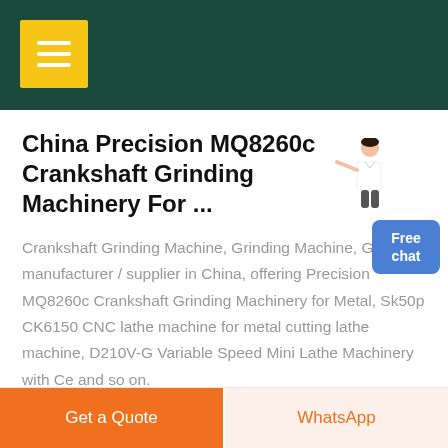[Figure (logo): Dark teal navigation header bar with yellow hamburger menu button icon]
China Precision MQ8260c Crankshaft Grinding Machinery For ...
Crankshaft Grinding Machine, Grinding Machine, Grinder manufacturer / supplier in China, offering Precision MQ8260c Crankshaft Grinding Machinery for Metal, Sk50p CK6150 CNC lathe machine for metal cutting lathe machine, D210V-G Variable Speed Mini Lathe Machinery with Ce and so on.
GET PRICE
Free chat
Get a Quote
WhatsApp